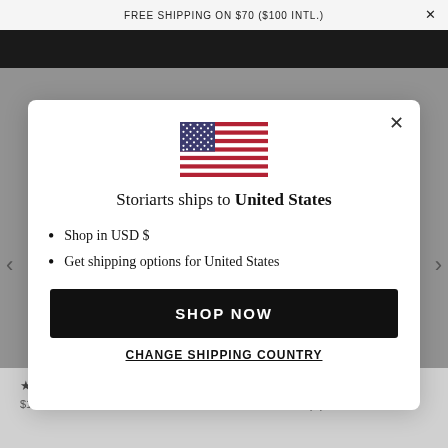FREE SHIPPING ON $70 ($100 INTL.)
[Figure (screenshot): US flag emoji/icon displayed in modal dialog]
Storiarts ships to United States
Shop in USD $
Get shipping options for United States
SHOP NOW
CHANGE SHIPPING COUNTRY
BOARD BOOK
★★★★★ (313)
★★★★★ (4)